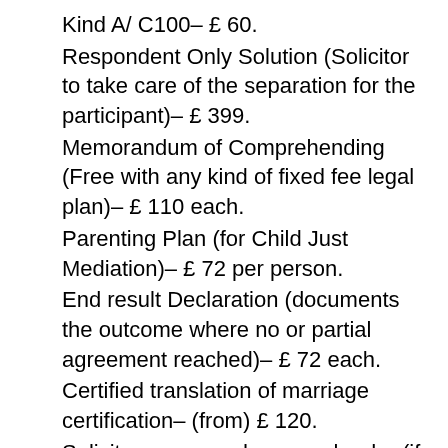Kind A/ C100– £ 60.
Respondent Only Solution (Solicitor to take care of the separation for the participant)– £ 399.
Memorandum of Comprehending (Free with any kind of fixed fee legal plan)– £ 110 each.
Parenting Plan (for Child Just Mediation)– £ 72 per person.
End result Declaration (documents the outcome where no or partial agreement reached)– £ 72 each.
Certified translation of marriage certification– (from) £ 120.
Solicitor composed approval order (if added to any kind of divorce bundle)– £ 499 per individual.
Qualified copy of a marriage certificate– £ 25.
Work with of second area for shuttle mediation